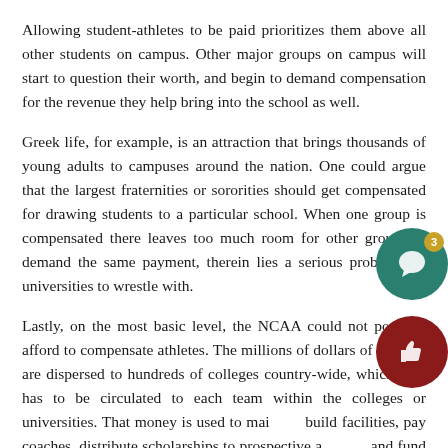Allowing student-athletes to be paid prioritizes them above all other students on campus. Other major groups on campus will start to question their worth, and begin to demand compensation for the revenue they help bring into the school as well.
Greek life, for example, is an attraction that brings thousands of young adults to campuses around the nation. One could argue that the largest fraternities or sororities should get compensated for drawing students to a particular school. When one group is compensated there leaves too much room for other groups to demand the same payment, therein lies a serious problem for universities to wrestle with.
Lastly, on the most basic level, the NCAA could not possibly afford to compensate athletes. The millions of dollars of revenue are dispersed to hundreds of colleges country-wide, which then has to be circulated to each team within the colleges or universities. That money is used to maintain build facilities, pay coaches, distribute scholarships to prospective athletes, and fund the growth of the athletic programs.
Forbes Magazine published an article on one of the largest college